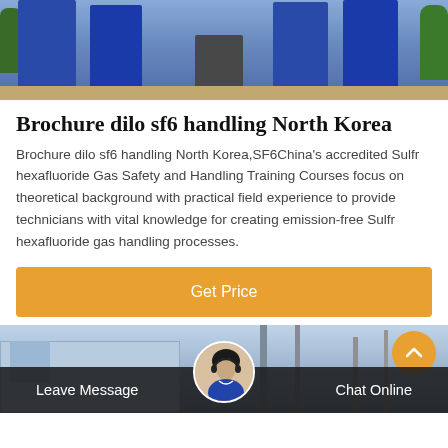[Figure (photo): Photo of workers in blue uniforms standing outdoors near a dustbin, with green plants visible on sides]
Brochure dilo sf6 handling North Korea
Brochure dilo sf6 handling North Korea,SF6China's accredited Sulfr hexafluoride Gas Safety and Handling Training Courses focus on theoretical background with practical field experience to provide technicians with vital knowledge for creating emission-free Sulfr hexafluoride gas handling processes.
Get Price
[Figure (photo): Photo of industrial structures, towers and buildings outdoors]
Leave Message
Chat Online